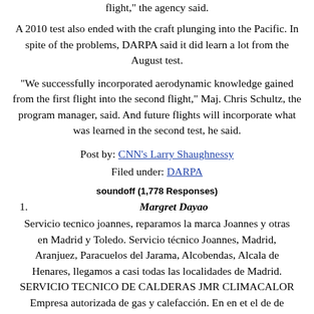flight," the agency said.
A 2010 test also ended with the craft plunging into the Pacific. In spite of the problems, DARPA said it did learn a lot from the August test.
"We successfully incorporated aerodynamic knowledge gained from the first flight into the second flight," Maj. Chris Schultz, the program manager, said. And future flights will incorporate what was learned in the second test, he said.
Post by: CNN's Larry Shaughnessy
Filed under: DARPA
soundoff (1,778 Responses)
1.   Margret Dayao
Servicio tecnico joannes, reparamos la marca Joannes y otras en Madrid y Toledo. Servicio técnico Joannes, Madrid, Aranjuez, Paracuelos del Jarama, Alcobendas, Alcala de Henares, llegamos a casi todas las localidades de Madrid. SERVICIO TECNICO DE CALDERAS JMR CLIMACALOR Empresa autorizada de gas y calefacción. En en et el de de DCI de Madrid, Toledo y de